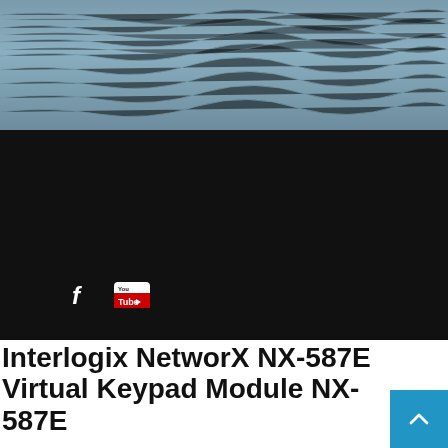[Figure (photo): Ocean water surface with blue-grey water texture, top portion of the page]
[Figure (screenshot): Dark/black section with Facebook and YouTube social media icons at the bottom left]
Interlogix NetworX NX-587E Virtual Keypad Module NX-587E